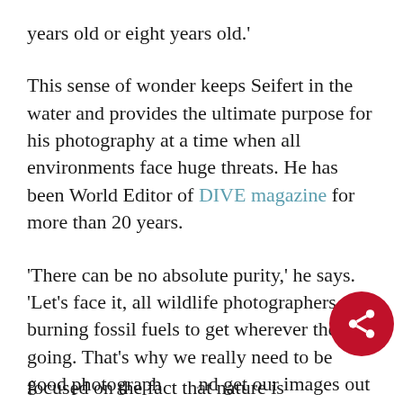years old or eight years old.'
This sense of wonder keeps Seifert in the water and provides the ultimate purpose for his photography at a time when all environments face huge threats. He has been World Editor of DIVE magazine for more than 20 years.
'There can be no absolute purity,' he says. 'Let's face it, all wildlife photographers are burning fossil fuels to get wherever they're going. That's why we really need to be good photographers and get our images out there – so we can keep focused on the fact that nature is extraordinary and